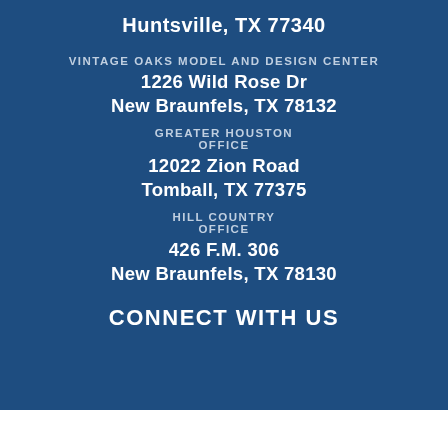Huntsville, TX 77340
VINTAGE OAKS MODEL AND DESIGN CENTER
1226 Wild Rose Dr
New Braunfels, TX 78132
GREATER HOUSTON OFFICE
12022 Zion Road
Tomball, TX 77375
HILL COUNTRY OFFICE
426 F.M. 306
New Braunfels, TX 78130
CONNECT WITH US